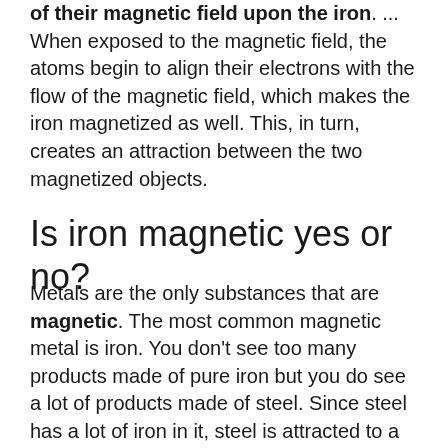of their magnetic field upon the iron. ... When exposed to the magnetic field, the atoms begin to align their electrons with the flow of the magnetic field, which makes the iron magnetized as well. This, in turn, creates an attraction between the two magnetized objects.
Is iron magnetic yes or no?
Metals are the only substances that are magnetic. The most common magnetic metal is iron. You don't see too many products made of pure iron but you do see a lot of products made of steel. Since steel has a lot of iron in it, steel is attracted to a magnet.